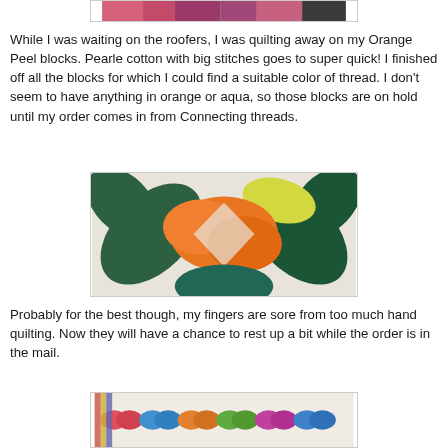[Figure (photo): Top portion of a quilting project showing colored fabric strips]
While I was waiting on the roofers, I was quilting away on my Orange Peel blocks.  Pearle cotton with big stitches goes to super quick!  I finished off all the blocks for which I could find a suitable color of thread.  I don't seem to have anything in orange or aqua, so those blocks are on hold until my order comes in from Connecting threads.
[Figure (photo): Close-up of orange peel quilt blocks showing orange, green, yellow, and teal curved fabric pieces on white background]
Probably for the best though, my fingers are sore from too much hand quilting.  Now they will have a chance to rest up a bit while the order is in the mail.
[Figure (photo): Wider view of completed orange peel quilt showing multiple colorful blocks arranged in rows]